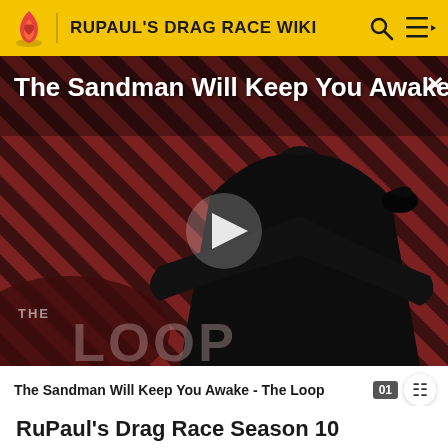RUPAUL'S DRAG RACE WIKI
[Figure (screenshot): Video thumbnail for 'The Sandman Will Keep You Awake - The Loop' showing a dark-cloaked figure against a red and black diagonal striped background with 'THE LOOP' text overlay and a play button in the center.]
The Sandman Will Keep You Awake - The Loop
RuPaul's Drag Race Season 10
"I'm just here to fight!" (Season 10 entrance)